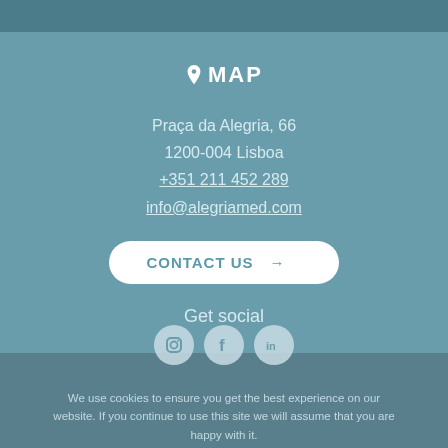MAP
Praça da Alegria, 66
1200-004 Lisboa
+351 211 452 289
info@alegriamed.com
CONTACT US →
Get social
[Figure (illustration): Three social media icons: Instagram, Facebook, LinkedIn]
We use cookies to ensure you get the best experience on our website. If you continue to use this site we will assume that you are happy with it.
© 2022 Copyright Alegria Med Healthcare - Woundering
Privacy policy